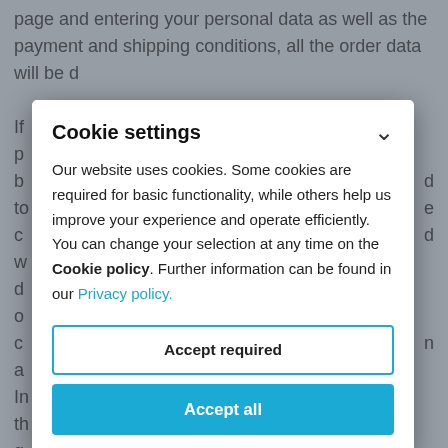page and entering your personal data as well as the payment and shipping conditions, all the order data will be d…
If … p … b … d to … e c … d w … d o … c … n a … In … th … g …
Cookie settings
Our website uses cookies. Some cookies are required for basic functionality, while others help us improve your experience and operate efficiently. You can change your selection at any time on the Cookie policy. Further information can be found in our Privacy policy.
Accept required
Accept all
The customer first receives an automatic email about the